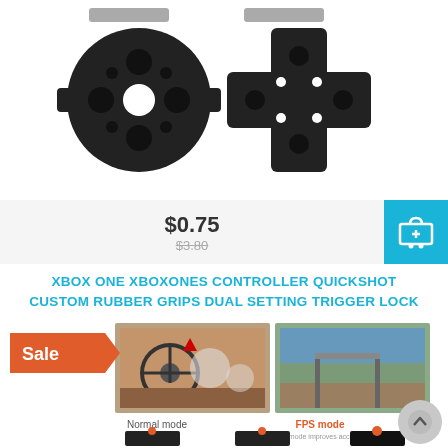[Figure (photo): Two black rubber button pad components for a game controller — a circular ABXY pad and a D-pad shaped pad, shown on white background]
$0.75
$3.80
[Figure (other): Shopping cart icon on teal/cyan background]
XBOX ONE XBOXONES CONTROLLER QUICKSHOT CUSTOM RUBBER GRIPS DUAL SETTING TRIGGER LOCK
[Figure (photo): Product listing with Sale badge, showing controller grips in Normal mode and FPS mode with trigger lock detail photos]